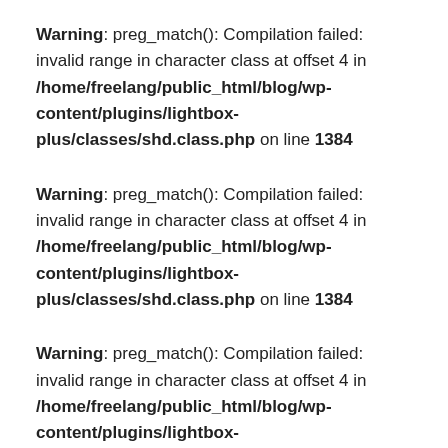Warning: preg_match(): Compilation failed: invalid range in character class at offset 4 in /home/freelang/public_html/blog/wp-content/plugins/lightbox-plus/classes/shd.class.php on line 1384
Warning: preg_match(): Compilation failed: invalid range in character class at offset 4 in /home/freelang/public_html/blog/wp-content/plugins/lightbox-plus/classes/shd.class.php on line 1384
Warning: preg_match(): Compilation failed: invalid range in character class at offset 4 in /home/freelang/public_html/blog/wp-content/plugins/lightbox-plus/classes/shd.class.php on line 1384